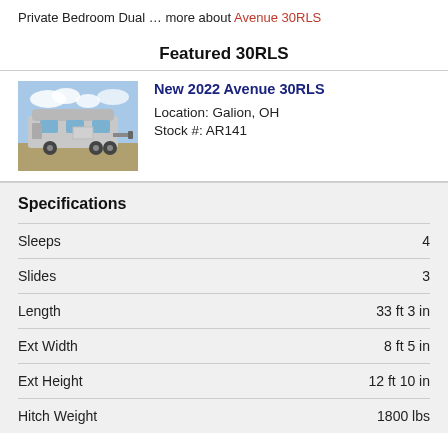Private Bedroom Dual … more about Avenue 30RLS
Featured 30RLS
[Figure (photo): Photo of a silver fifth-wheel RV trailer parked outdoors]
New 2022 Avenue 30RLS
Location: Galion, OH
Stock #: AR141
Specifications
| Specification | Value |
| --- | --- |
| Sleeps | 4 |
| Slides | 3 |
| Length | 33 ft 3 in |
| Ext Width | 8 ft 5 in |
| Ext Height | 12 ft 10 in |
| Hitch Weight | 1800 lbs |